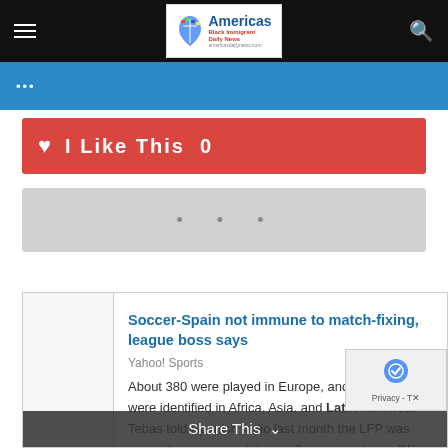Americas Black Immigrant Daily News
...
I Like This  0
[Figure (other): Gray placeholder box with three dots]
Soccer-Spain not immune to match-fixing, league boss says
Yahoo! Sports
About 380 were played in Europe, and a further 300 were identified in Africa, Asia, and Latin America. Tebas told Spanish radio last month the LFP was aware that some matches in Spain were being "We are trying to unmask the cheats, because ...
Share This